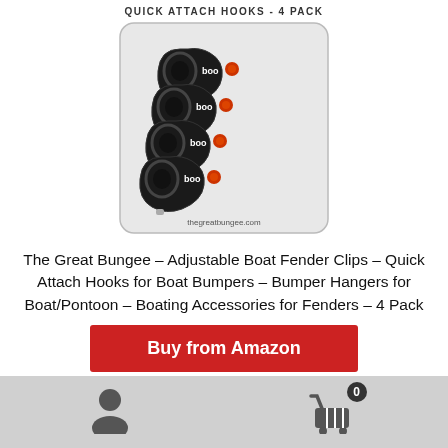QUICK ATTACH HOOKS - 4 PACK
[Figure (photo): Product photo of 4 black carabiner-style quick attach hooks with red buttons and 'boo' branding in clear plastic packaging. Website URL thegreатbungee.com shown at bottom of package.]
The Great Bungee – Adjustable Boat Fender Clips – Quick Attach Hooks for Boat Bumpers – Bumper Hangers for Boat/Pontoon – Boating Accessories for Fenders – 4 Pack
Buy from Amazon